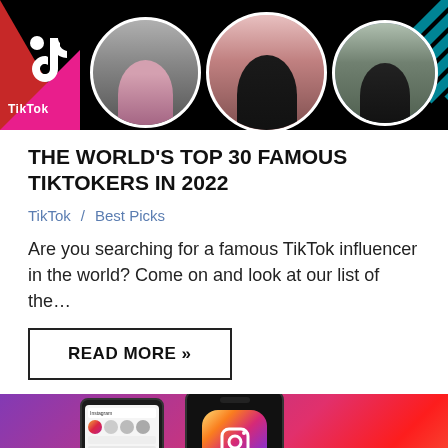[Figure (photo): TikTok banner with logo, three circular avatar photos, and decorative striped pattern on right]
THE WORLD'S TOP 30 FAMOUS TIKTOKERS IN 2022
TikTok / Best Picks
Are you searching for a famous TikTok influencer in the world? Come on and look at our list of the…
READ MORE »
[Figure (photo): Instagram promotional banner showing phone with Instagram app and Instagram logo icon, purple-pink gradient background]